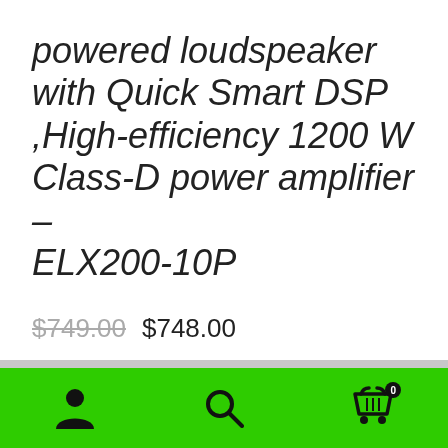powered loudspeaker with Quick Smart DSP ,High-efficiency 1200 W Class-D power amplifier – ELX200-10P
$749.00  $748.00
The Electro-Voice ELX200 series powered speakers are